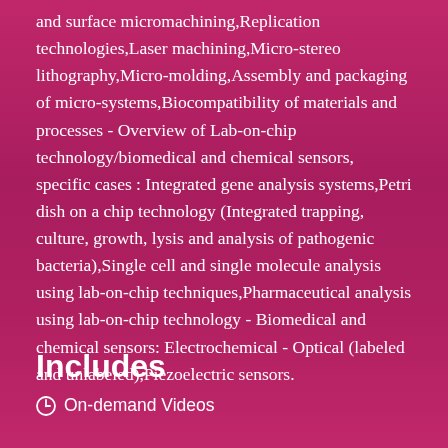and surface micromachining,Replication technologies,Laser machining,Micro-stereo lithography,Micro-molding,Assembly and packaging of micro-systems,Biocompatibility of materials and processes - Overview of Lab-on-chip technology/biomedical and chemical sensors, specific cases : Integrated gene analysis systems,Petri dish on a chip technology (Integrated trapping, culture, growth, lysis and analysis of pathogenic bacteria),Single cell and single molecule analysis using lab-on-chip techniques,Pharmaceutical analysis using lab-on-chip technology - Biomedical and chemical sensors: Electrochemical - Optical (labeled and unlabeled),Piezoelectric sensors.
Includes
On-demand Videos